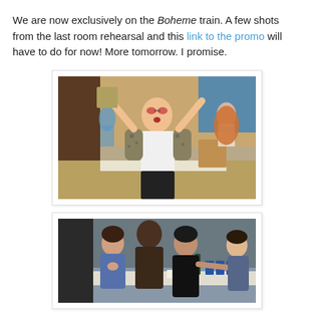We are now exclusively on the Boheme train. A few shots from the last room rehearsal and this link to the promo will have to do for now! More tomorrow. I promise.
[Figure (photo): A woman wearing sunglasses, a white top and leopard-print jacket, holding up a shopping bag with both arms raised in a rehearsal room with other people in the background.]
[Figure (photo): A group of four people seated or standing around a table in a rehearsal room, appearing to be engaged in a scene or discussion.]